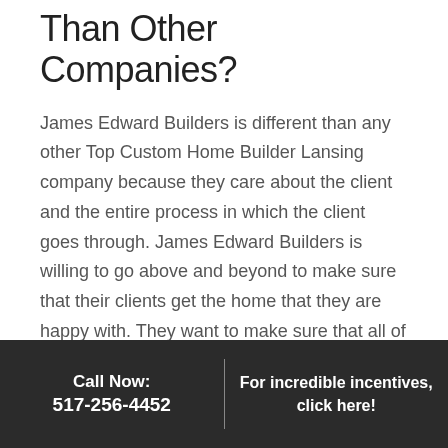Than Other Companies?
James Edward Builders is different than any other Top Custom Home Builder Lansing company because they care about the client and the entire process in which the client goes through. James Edward Builders is willing to go above and beyond to make sure that their clients get the home that they are happy with. They want to make sure that all of their clients are completely satisfied and they will do anything that they need to help that process. They're willing to build your home or help you find your home to make sure that you have a
Call Now:
517-256-4452
For incredible incentives, click here!